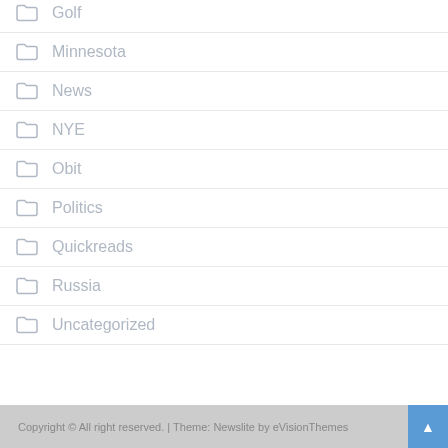Golf
Minnesota
News
NYE
Obit
Politics
Quickreads
Russia
Uncategorized
Copyright © All right reserved. | Theme: Newslite by eVisionThemes